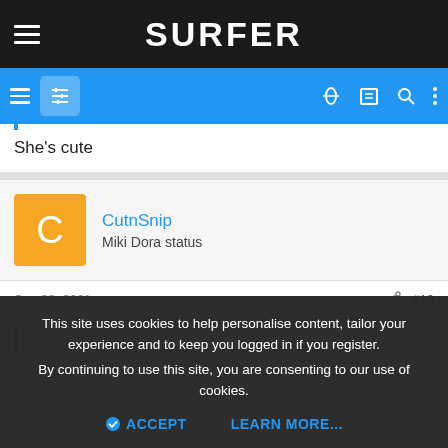SURFER
She's cute
CutnSnip
Miki Dora status
Sep 28, 2021  #10
This site uses cookies to help personalise content, tailor your experience and to keep you logged in if you register. By continuing to use this site, you are consenting to our use of cookies.
ACCEPT   LEARN MORE...